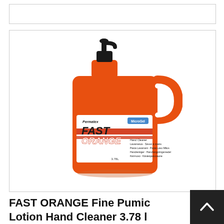[Figure (photo): A large orange plastic pump bottle of Permatex Fast Orange Fine Pumice Lotion Hand Cleaner, 3.78L size, with a black pump dispenser on top and white/red label on the front.]
FAST ORANGE Fine Pumice Lotion Hand Cleaner 3.78 l